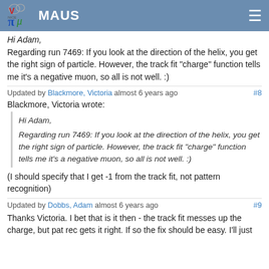MAUS
Hi Adam,
Regarding run 7469: If you look at the direction of the helix, you get the right sign of particle. However, the track fit "charge" function tells me it's a negative muon, so all is not well. :)
Updated by Blackmore, Victoria almost 6 years ago #8
Blackmore, Victoria wrote:
Hi Adam,

Regarding run 7469: If you look at the direction of the helix, you get the right sign of particle. However, the track fit "charge" function tells me it's a negative muon, so all is not well. :)
(I should specify that I get -1 from the track fit, not pattern recognition)
Updated by Dobbs, Adam almost 6 years ago #9
Thanks Victoria. I bet that is it then - the track fit messes up the charge, but pat rec gets it right. If so the fix should be easy. I'll just